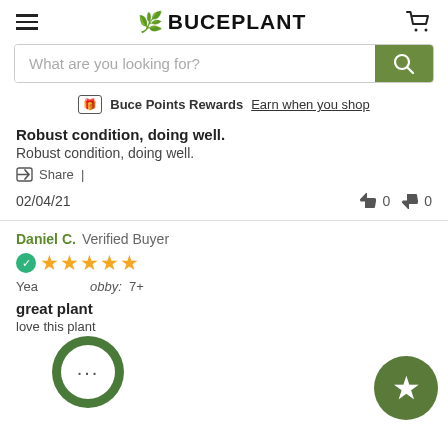BUCEPLANT
What are you looking for?
Buce Points Rewards Earn when you shop
Robust condition, doing well.
Robust condition, doing well.
Share |
02/04/21   0   0
Daniel C. Verified Buyer
★★★★★
Years as a Hobby: 7+
great plant
love this plant